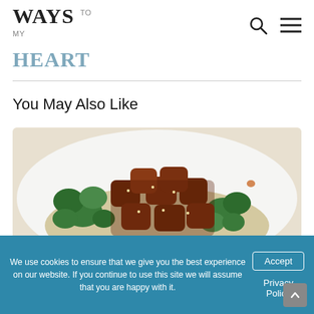WAYS TO MY HEART
You May Also Like
[Figure (photo): A plate of teriyaki-glazed chicken or beef pieces with broccoli served over rice on a white plate]
We use cookies to ensure that we give you the best experience on our website. If you continue to use this site we will assume that you are happy with it.
Accept
Privacy Policy